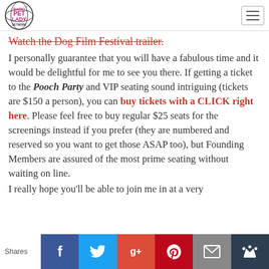Radio Pet Lady Network logo and navigation hamburger menu
Watch the Dog Film Festival trailer.
I personally guarantee that you will have a fabulous time and it would be delightful for me to see you there. If getting a ticket to the Pooch Party and VIP seating sound intriguing (tickets are $150 a person), you can buy tickets with a CLICK right here. Please feel free to buy regular $25 seats for the screenings instead if you prefer (they are numbered and reserved so you want to get those ASAP too), but Founding Members are assured of the most prime seating without waiting on line.
I really hope you'll be able to join me in at a very
Shares | Facebook | Twitter | Google+ | Pinterest | Email | Crown